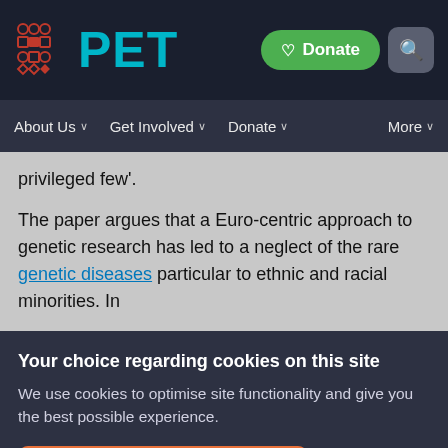PET — Donate | Search | About Us | Get Involved | Donate | More
privileged few'.
The paper argues that a Euro-centric approach to genetic research has led to a neglect of the rare genetic diseases particular to ethnic and racial minorities. In
Your choice regarding cookies on this site
We use cookies to optimise site functionality and give you the best possible experience.
Accept Recommended Settings